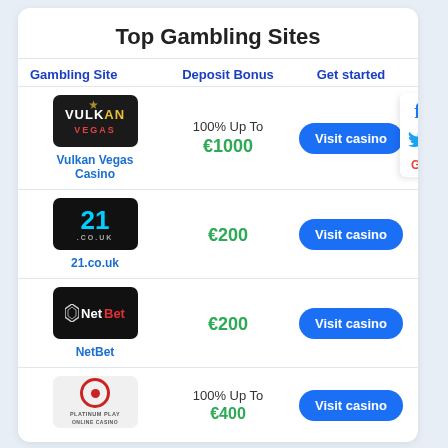Top Gambling Sites
| Gambling Site | Deposit Bonus | Get started |
| --- | --- | --- |
| Vulkan Vegas Casino | 100% Up To €1000 | Visit casino |
| 21.co.uk | €200 | Visit casino |
| NetBet | €200 | Visit casino |
| Platinum Play | 100% Up To €400 | Visit casino |